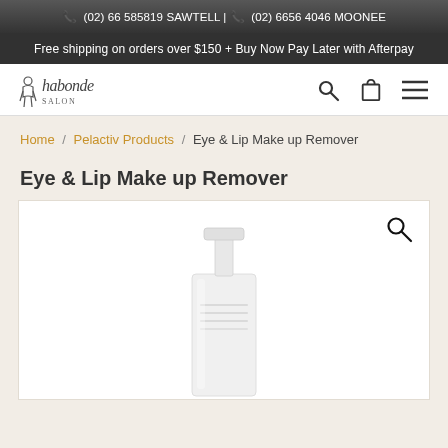📞 (02) 66 585819 SAWTELL | 📞 (02) 6656 4046 MOONEE
Free shipping on orders over $150 + Buy Now Pay Later with Afterpay
[Figure (logo): Habonde salon logo with stylized text and icon]
Home / Pelactiv Products / Eye & Lip Make up Remover
Eye & Lip Make up Remover
[Figure (photo): White pump bottle product photo of Eye & Lip Make up Remover with magnify/zoom icon in top right corner]